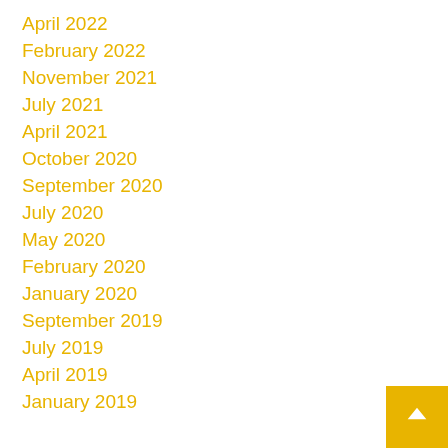April 2022
February 2022
November 2021
July 2021
April 2021
October 2020
September 2020
July 2020
May 2020
February 2020
January 2020
September 2019
July 2019
April 2019
January 2019